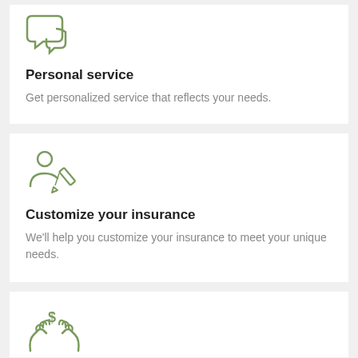[Figure (illustration): Green speech bubble / chat icon representing personal service]
Personal service
Get personalized service that reflects your needs.
[Figure (illustration): Green person-with-pencil icon representing customizing insurance]
Customize your insurance
We'll help you customize your insurance to meet your unique needs.
[Figure (illustration): Green hands holding a dollar sign icon representing savings or value]